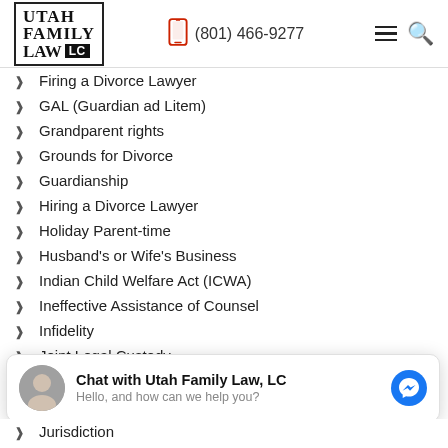Utah Family Law LC | (801) 466-9277
Firing a Divorce Lawyer
GAL (Guardian ad Litem)
Grandparent rights
Grounds for Divorce
Guardianship
Hiring a Divorce Lawyer
Holiday Parent-time
Husband's or Wife's Business
Indian Child Welfare Act (ICWA)
Ineffective Assistance of Counsel
Infidelity
Joint Legal Custody
Chat with Utah Family Law, LC
Hello, and how can we help you?
Jurisdiction